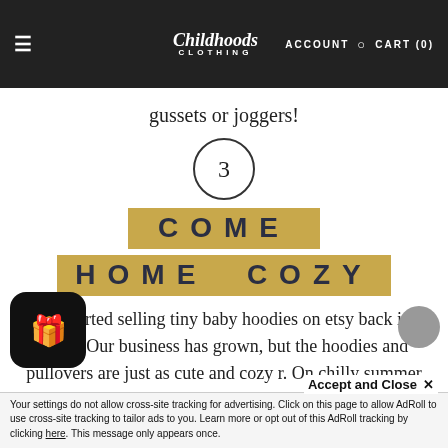≡  Childhoods CLOTHING  ACCOUNT  🔍  CART (0)
gussets or joggers!
3
COME HOME COZY
We started selling tiny baby hoodies on etsy back in 2012! Our business has grown, but the hoodies and pullovers are just as cute and cozy r. On chilly summer nights, throw
ne shorties or boy shorts and
Accept and Close ✕
Your settings do not allow cross-site tracking for advertising. Click on this page to allow AdRoll to use cross-site tracking to tailor ads to you. Learn more or opt out of this AdRoll tracking by clicking here. This message only appears once.